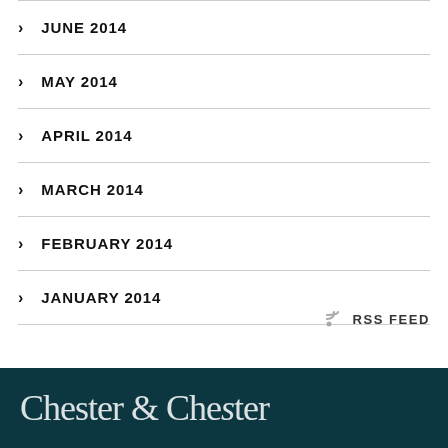JUNE 2014
MAY 2014
APRIL 2014
MARCH 2014
FEBRUARY 2014
JANUARY 2014
RSS FEED
Chester & Chester